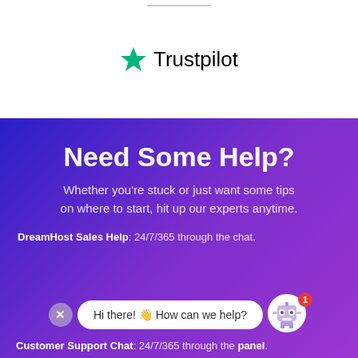[Figure (logo): Trustpilot logo with green star and 'Trustpilot' wordmark]
Need Some Help?
Whether you’re stuck or just want some tips on where to start, hit up our experts anytime.
DreamHost Sales Help: 24/7/365 through the chat.
[Figure (screenshot): Chat widget overlay with close button, bubble saying 'Hi there! 👋 How can we help?' and robot icon with notification badge showing 1]
Customer Support Chat: 24/7/365 through the panel.